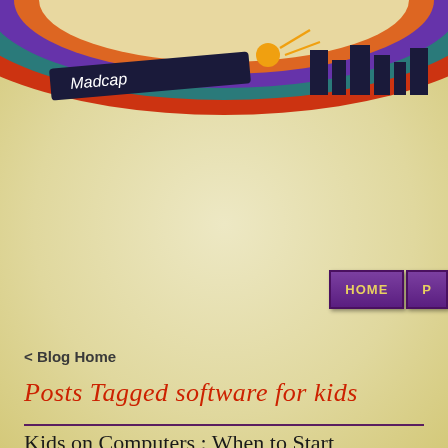[Figure (logo): Madcap website header logo with colorful arc design in red, teal, purple, and orange, with text 'Madcap' on a dark banner]
[Figure (other): Navigation buttons: HOME and another partially visible button, styled in purple with gold text]
< Blog Home
Posts Tagged software for kids
Kids on Computers : When to Start